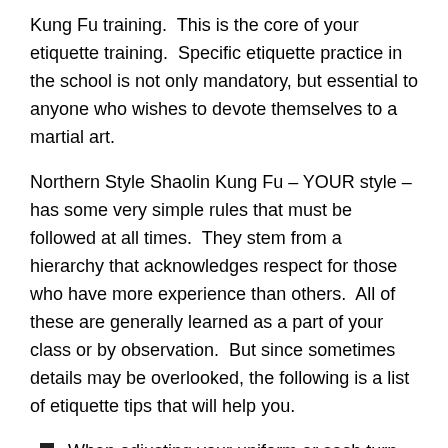Kung Fu training.  This is the core of your etiquette training.  Specific etiquette practice in the school is not only mandatory, but essential to anyone who wishes to devote themselves to a martial art.
Northern Style Shaolin Kung Fu – YOUR style – has some very simple rules that must be followed at all times.  They stem from a hierarchy that acknowledges respect for those who have more experience than others.  All of these are generally learned as a part of your class or by observation.  But since sometimes details may be overlooked, the following is a list of etiquette tips that will help you.
When adjusting your uniform or sash turn your back to the instructor/highest rank until finished.
The proper way to bow is to open your left hand and